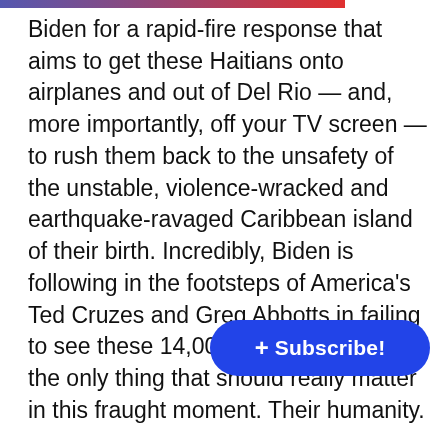Biden for a rapid-fire response that aims to get these Haitians onto airplanes and out of Del Rio — and, more importantly, off your TV screen — to rush them back to the unsafety of the unstable, violence-wracked and earthquake-ravaged Caribbean island of their birth. Incredibly, Biden is following in the footsteps of America's Ted Cruzes and Greg Abbotts in failing to see these 14,000 Haitian souls for the only thing that should really matter in this fraught moment. Their humanity.
"The race to airlift these mostly Haitian migrants back into harm's way would look inhumane and un-American under any circumstance, but Biden's actions seem especially bizarre in the present mo... the rapid deportation of the throng at D... dubious loophole to prevent them from applying for ...